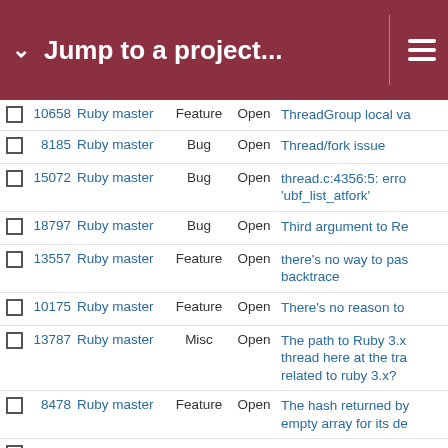Jump to a project...
|  | # | Project | Type | Status | Subject |
| --- | --- | --- | --- | --- | --- |
|  | 10658 | Ruby master | Feature | Open | ThreadGroup local va |
|  | 8185 | Ruby master | Bug | Open | Thread/fork issue |
|  | 15072 | Ruby master | Bug | Open | thread.c:4356:5: erro 'ubf_list_atfork' |
|  | 18797 | Ruby master | Bug | Open | Third argument to Re |
|  | 13557 | Ruby master | Feature | Open | there's no way to pas backtrace |
|  | 10175 | Ruby master | Feature | Open | There's no reason to |
|  | 13787 | Ruby master | Misc | Open | The path to Ruby 3.x thread here at the tra related to ruby 3.x? |
|  | 8478 | Ruby master | Feature | Open | The hash returned by empty array for its de |
|  | 18763 | Ruby master | Bug | Open | The configure option than pkg-config |
|  | 16920 | Ruby master | Bug | Open | TestThread#test_sign |
|  | 14761 | Ruby master | Bug | Open | TestThread#test_join |
|  | 16493 | Ruby master | Bug | Open | TestThreadQueue#te |
|  | 16265 | Ruby master | Bug | Open | Test (spec) failure usi protector and possibl |